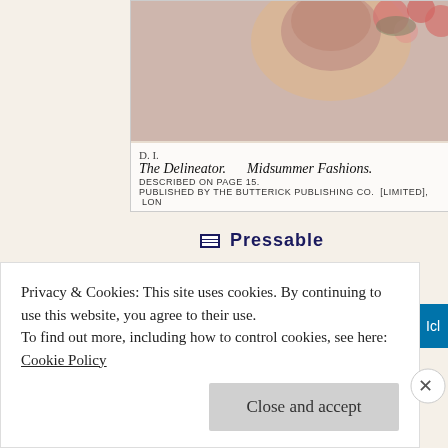[Figure (illustration): Cropped vintage fashion magazine cover showing The Delineator / Midsummer Fashions, Published by The Butterick Publishing Co. (Limited), London. Shows floral/portrait illustration at top with caption text below.]
Pressable .........
The Platform Where WordPress Works Best
Privacy & Cookies: This site uses cookies. By continuing to use this website, you agree to their use.
To find out more, including how to control cookies, see here:
Cookie Policy
Close and accept